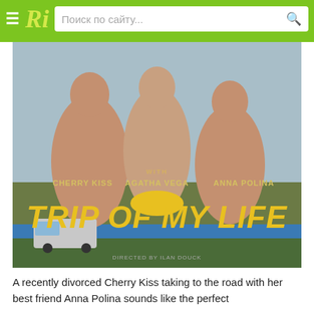Ri — Поиск по сайту...
[Figure (photo): Movie poster for 'Trip of My Life' featuring Cherry Kiss, Agatha Vega, and Anna Polina. Three figures on a beach scene with large yellow title text 'TRIP OF MY LIFE' and smaller text 'WITH CHERRY KISS  AGATHA VEGA  ANNA POLINA' above it.]
A recently divorced Cherry Kiss taking to the road with her best friend Anna Polina sounds like the perfect